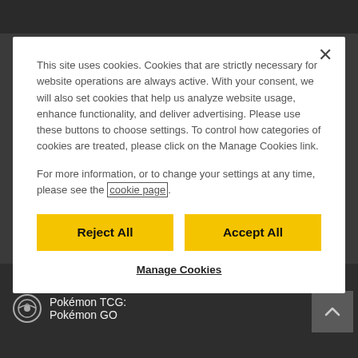[Figure (screenshot): Dark background of a Pokémon TCG website with top navigation bar and bottom card listing showing 'omrezant 63' and 'Pokémon TCG: Pokémon GO' with scroll-to-top button]
This site uses cookies. Cookies that are strictly necessary for website operations are always active. With your consent, we will also set cookies that help us analyze website usage, enhance functionality, and deliver advertising. Please use these buttons to choose settings. To control how categories of cookies are treated, please click on the Manage Cookies link.
For more information, or to change your settings at any time, please see the cookie page.
Reject All
Accept All
Manage Cookies